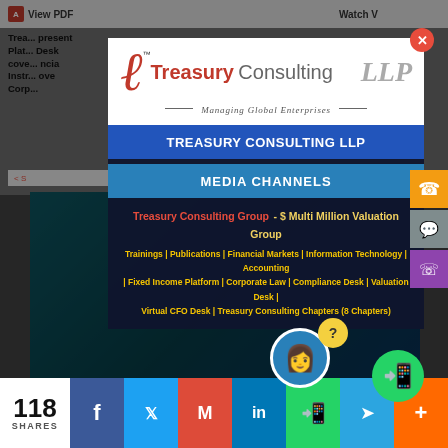[Figure (screenshot): Background webpage showing Treasury Consulting LLP content page with dimmed overlay]
[Figure (logo): Treasury Consulting LLP logo with red stylized V, text 'Treasury Consulting LLP' and tagline 'Managing Global Enterprises']
TREASURY CONSULTING LLP
MEDIA CHANNELS
Treasury Consulting Group - $ Multi Million Valuation Group
Trainings | Publications | Financial Markets | Information Technology | Accounting | Fixed Income Platform | Corporate Law | Compliance Desk | Valuation Desk | Virtual CFO Desk | Treasury Consulting Chapters (8 Chapters)
118 SHARES